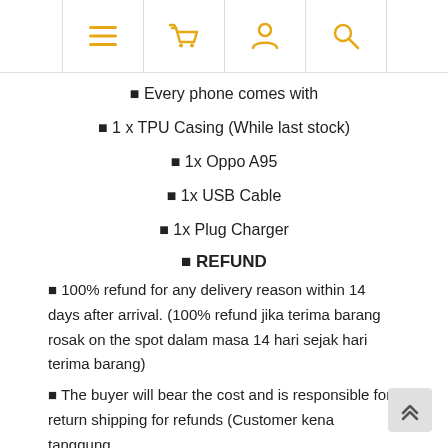Navigation icons: menu, basket, user, search
✦ Every phone comes with
✦ 1 x TPU Casing (While last stock)
✦ 1x Oppo A95
✦ 1x USB Cable
✦ 1x Plug Charger
✦ REFUND
✦ 100% refund for any delivery reason within 14 days after arrival. (100% refund jika terima barang rosak on the spot dalam masa 14 hari sejak hari terima barang)
✦ The buyer will bear the cost and is responsible for return shipping for refunds (Customer kena tanggung